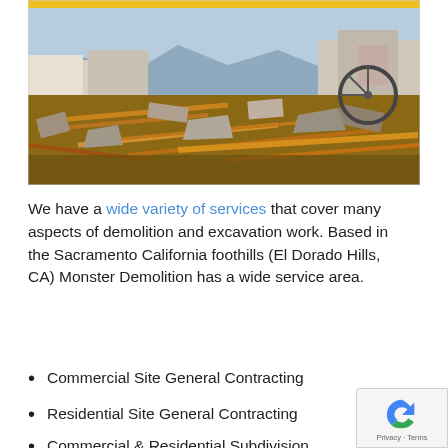[Figure (photo): Demolition site showing a large pile of debris including broken wood, rubble, and destroyed building materials. Partially standing walls and structures visible in the background with clear sky and mountains behind.]
We have a wide variety of services that cover many aspects of demolition and excavation work. Based in the Sacramento California foothills (El Dorado Hills, CA) Monster Demolition has a wide service area.
Commercial Site General Contracting
Residential Site General Contracting
Commercial & Residential Subdivision